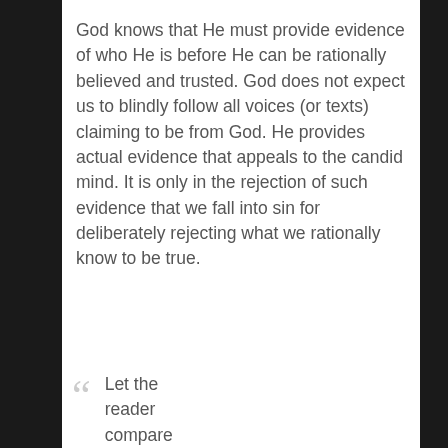God knows that He must provide evidence of who He is before He can be rationally believed and trusted. God does not expect us to blindly follow all voices (or texts) claiming to be from God. He provides actual evidence that appeals to the candid mind. It is only in the rejection of such evidence that we fall into sin for deliberately rejecting what we rationally know to be true.
Let the reader compare